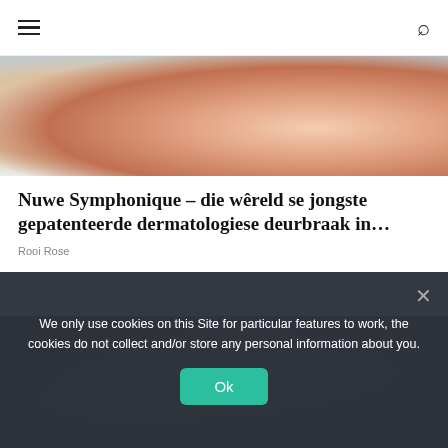Navigation menu and search
[Figure (photo): Close-up of a woman touching her face/cheek, skin care context, light background]
Nuwe Symphonique – die wêreld se jongste gepatenteerde dermatologiese deurbraak in…
Rooi Rose
[Figure (photo): Woman in blue lab coat working at a computer/lab setting, blue-tinted office environment with overhead lighting]
We only use cookies on this Site for particular features to work, the cookies do not collect and/or store any personal information about you.